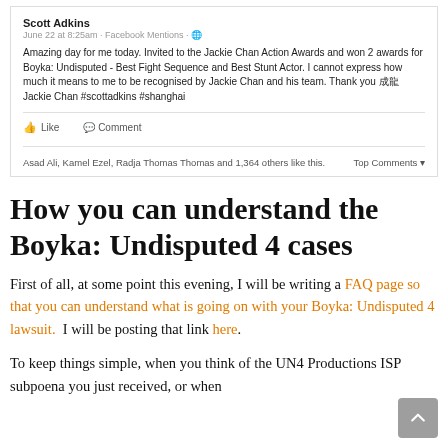[Figure (screenshot): Facebook post by Scott Adkins dated June 22 at 8:25am via Facebook Mentions. Post reads: 'Amazing day for me today. Invited to the Jackie Chan Action Awards and won 2 awards for Boyka: Undisputed - Best Fight Sequence and Best Stunt Actor. I cannot express how much it means to me to be recognised by Jackie Chan and his team. Thank you 成龍 Jackie Chan #scottadkins #shanghai'. Shows Like and Comment buttons. Liked by Asad Ali, Kamel Ezel, Radja Thomas Thomas and 1,364 others. Top Comments dropdown shown.]
How you can understand the Boyka: Undisputed 4 cases
First of all, at some point this evening, I will be writing a FAQ page so that you can understand what is going on with your Boyka: Undisputed 4 lawsuit.  I will be posting that link here.
To keep things simple, when you think of the UN4 Productions ISP subpoena you just received, or when